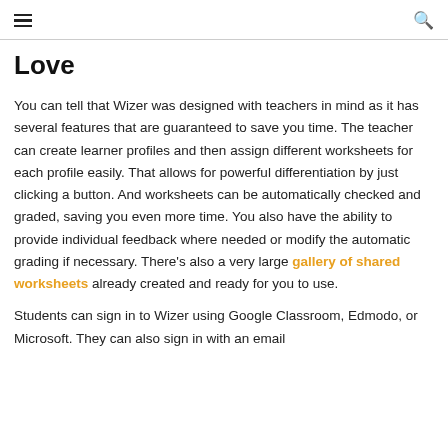≡  🔍
Love
You can tell that Wizer was designed with teachers in mind as it has several features that are guaranteed to save you time. The teacher can create learner profiles and then assign different worksheets for each profile easily. That allows for powerful differentiation by just clicking a button. And worksheets can be automatically checked and graded, saving you even more time. You also have the ability to provide individual feedback where needed or modify the automatic grading if necessary. There's also a very large gallery of shared worksheets already created and ready for you to use.
Students can sign in to Wizer using Google Classroom, Edmodo, or Microsoft. They can also sign in with an email